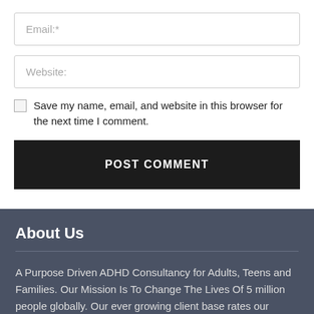Email:*
Website:
Save my name, email, and website in this browser for the next time I comment.
POST COMMENT
About Us
A Purpose Driven ADHD Consultancy for Adults, Teens and Families. Our Mission Is To Change The Lives Of 5 million people globally. Our ever growing client base rates our ADHD